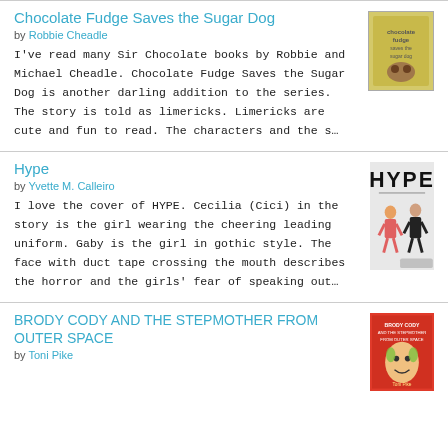Chocolate Fudge Saves the Sugar Dog
by Robbie Cheadle
I've read many Sir Chocolate books by Robbie and Michael Cheadle. Chocolate Fudge Saves the Sugar Dog is another darling addition to the series. The story is told as limericks. Limericks are cute and fun to read. The characters and the s…
[Figure (illustration): Book cover for Chocolate Fudge Saves the Sugar Dog]
Hype
by Yvette M. Calleiro
I love the cover of HYPE. Cecilia (Cici) in the story is the girl wearing the cheering leading uniform. Gaby is the girl in gothic style. The face with duct tape crossing the mouth describes the horror and the girls' fear of speaking out…
[Figure (illustration): Book cover for Hype]
BRODY CODY AND THE STEPMOTHER FROM OUTER SPACE
by Toni Pike
[Figure (illustration): Book cover for Brody Cody and the Stepmother from Outer Space]